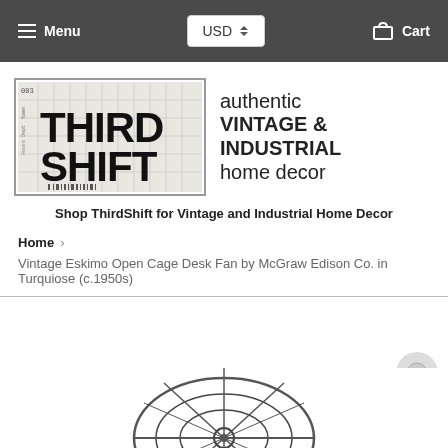Menu | USD | Cart
[Figure (logo): Third Shift vintage logo with timesheet background, bold distressed 'THIRD SHIFT' text]
authentic VINTAGE & INDUSTRIAL home decor
Shop ThirdShift for Vintage and Industrial Home Decor
Home › Vintage Eskimo Open Cage Desk Fan by McGraw Edison Co. in Turquiose (c.1950s)
[Figure (photo): Partial view of a vintage open-cage desk fan, turquoise, 1950s era, circular cage structure visible from below]